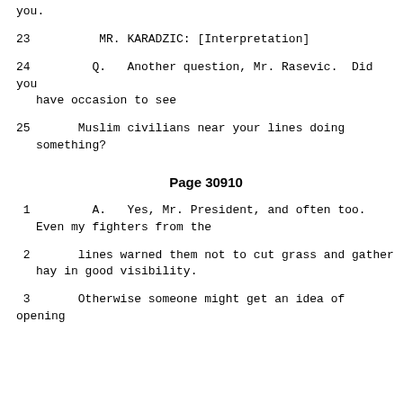you.
23          MR. KARADZIC: [Interpretation]
24        Q.   Another question, Mr. Rasevic.  Did you have occasion to see
25      Muslim civilians near your lines doing something?
Page 30910
1         A.   Yes, Mr. President, and often too. Even my fighters from the
2       lines warned them not to cut grass and gather hay in good visibility.
3       Otherwise someone might get an idea of opening